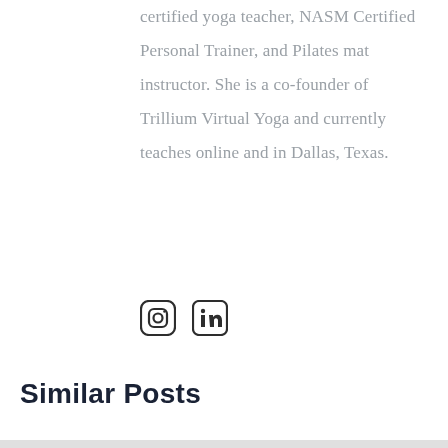certified yoga teacher, NASM Certified Personal Trainer, and Pilates mat instructor. She is a co-founder of Trillium Virtual Yoga and currently teaches online and in Dallas, Texas.
[Figure (other): Social media icons: Instagram and LinkedIn]
Similar Posts